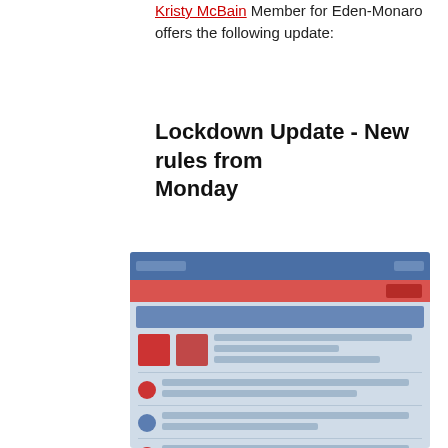Kristy McBain Member for Eden-Monaro offers the following update:
Lockdown Update - New rules from Monday
[Figure (screenshot): A blurred screenshot of a Facebook page or social media post showing a lockdown update with red and blue header bars, several user avatars and blurred text content rows.]